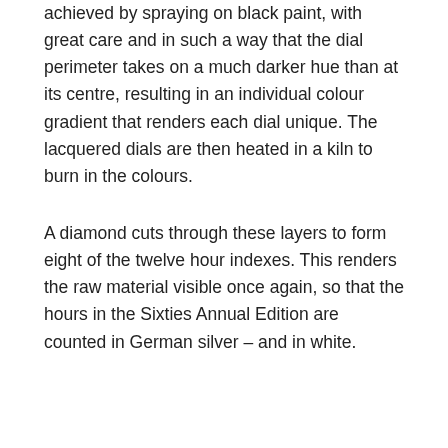achieved by spraying on black paint, with great care and in such a way that the dial perimeter takes on a much darker hue than at its centre, resulting in an individual colour gradient that renders each dial unique. The lacquered dials are then heated in a kiln to burn in the colours.
A diamond cuts through these layers to form eight of the twelve hour indexes. This renders the raw material visible once again, so that the hours in the Sixties Annual Edition are counted in German silver – and in white.